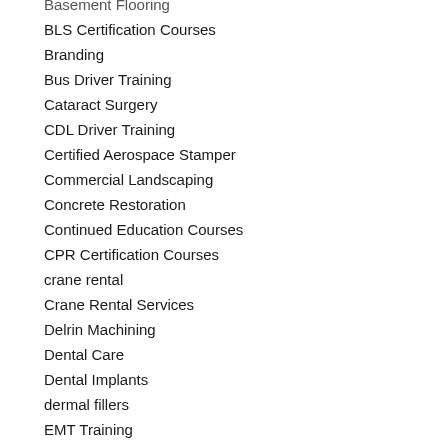Basement Flooring
BLS Certification Courses
Branding
Bus Driver Training
Cataract Surgery
CDL Driver Training
Certified Aerospace Stamper
Commercial Landscaping
Concrete Restoration
Continued Education Courses
CPR Certification Courses
crane rental
Crane Rental Services
Delrin Machining
Dental Care
Dental Implants
dermal fillers
EMT Training
Epoxy Garage Flooring Companies